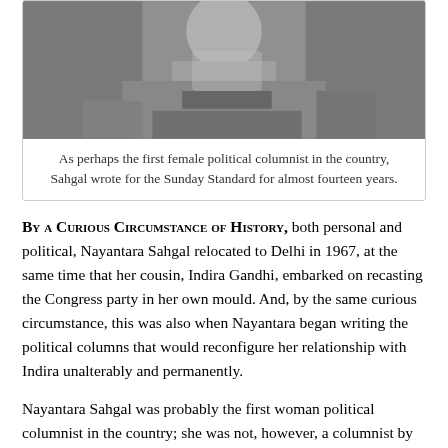[Figure (photo): Black and white photograph of Nayantara Sahgal at a typewriter or desk, cropped at top]
As perhaps the first female political columnist in the country, Sahgal wrote for the Sunday Standard for almost fourteen years.
BY A CURIOUS CIRCUMSTANCE OF HISTORY, both personal and political, Nayantara Sahgal relocated to Delhi in 1967, at the same time that her cousin, Indira Gandhi, embarked on recasting the Congress party in her own mould. And, by the same curious circumstance, this was also when Nayantara began writing the political columns that would reconfigure her relationship with Indira unalterably and permanently.
Nayantara Sahgal was probably the first woman political columnist in the country; she was not, however, a columnist by choice. Financial constraints following her divorce in 1967, and the expense of managing on her own, in a way, forced her hand. Then as now, a writer couldn't hope to live off her royalties, and so, for a good many years, her fiction and journalism proceeded more or less in tandem, albeit with considerable difficulty; this meant snatching time away from her other preoccupations, from householding and parenting. Nayantara wrote a regular political